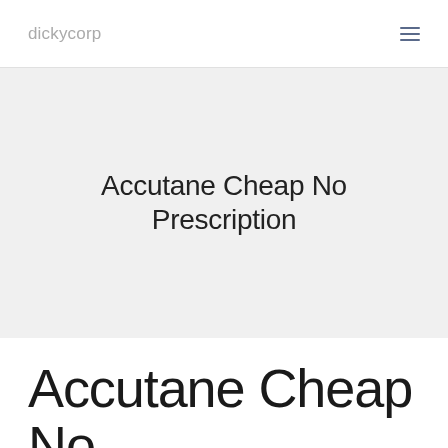dickycorp
Accutane Cheap No Prescription
Accutane Cheap No